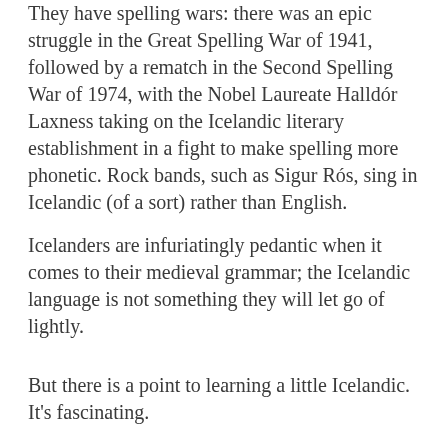They have spelling wars: there was an epic struggle in the Great Spelling War of 1941, followed by a rematch in the Second Spelling War of 1974, with the Nobel Laureate Halldór Laxness taking on the Icelandic literary establishment in a fight to make spelling more phonetic.  Rock bands, such as Sigur Rós, sing in Icelandic (of a sort) rather than English.
Icelanders are infuriatingly pedantic when it comes to their medieval grammar; the Icelandic language is not something they will let go of lightly.
But there is a point to learning a little Icelandic.  It's fascinating.